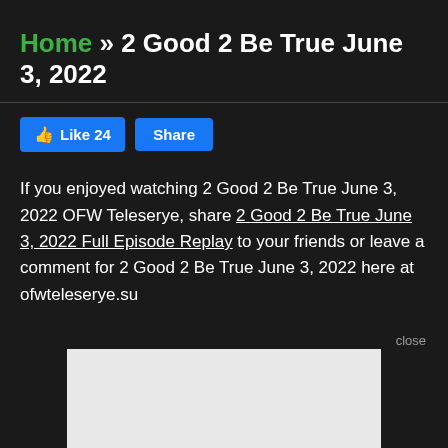Home » 2 Good 2 Be True June 3, 2022
Like 24   Share
If you enjoyed watching 2 Good 2 Be True June 3, 2022 OFW Teleserye, share 2 Good 2 Be True June 3, 2022 Full Episode Replay to your friends or leave a comment for 2 Good 2 Be True June 3, 2022 here at ofwteleserye.su
close
[Figure (other): Light gray advertisement/content placeholder box]